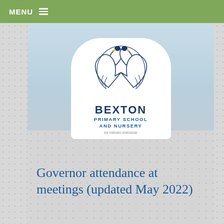MENU
[Figure (logo): Bexton Primary School and Nursery logo featuring two swans forming a heart shape, with the school name below in navy blue letters]
Governor attendance at meetings (updated May 2022)